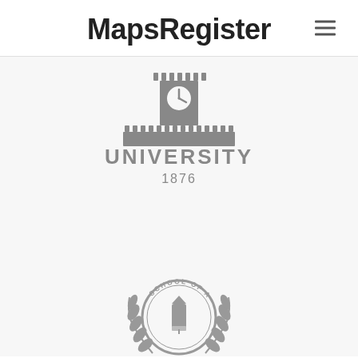MapsRegister
[Figure (logo): University logo with clock tower building and text 'UNIVERSITY 1876']
[Figure (logo): School of Art and Design circular badge with laurel wreath and pencil icon]